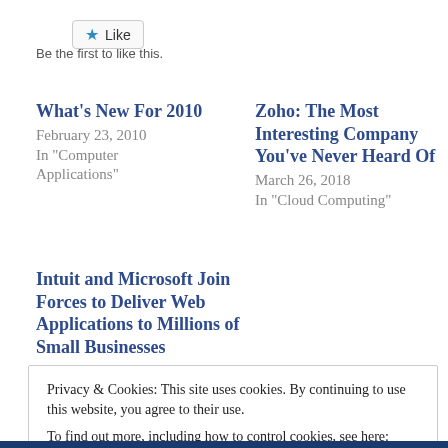[Figure (other): Like button with star icon]
Be the first to like this.
What's New For 2010
February 23, 2010
In "Computer Applications"
Zoho: The Most Interesting Company You've Never Heard Of
March 26, 2018
In "Cloud Computing"
Intuit and Microsoft Join Forces to Deliver Web Applications to Millions of Small Businesses
January 20, 2010
Privacy & Cookies: This site uses cookies. By continuing to use this website, you agree to their use.
To find out more, including how to control cookies, see here: Cookie Policy
Close and accept